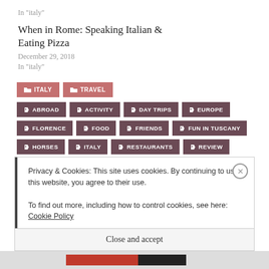In "italy"
When in Rome: Speaking Italian & Eating Pizza
December 29, 2018
In "italy"
ITALY
TRAVEL
ABROAD
ACTIVITY
DAY TRIPS
EUROPE
FLORENCE
FOOD
FRIENDS
FUN IN TUSCANY
HORSES
ITALY
RESTAURANTS
REVIEW
THINGS TO DO
TRAIL RIDE
TRAVEL
TUSCANY
Privacy & Cookies: This site uses cookies. By continuing to use this website, you agree to their use. To find out more, including how to control cookies, see here: Cookie Policy
Close and accept